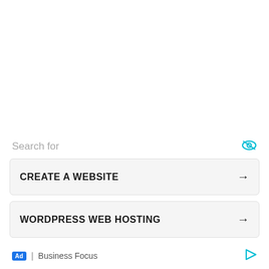Search for
CREATE A WEBSITE →
WORDPRESS WEB HOSTING →
Ad | Business Focus